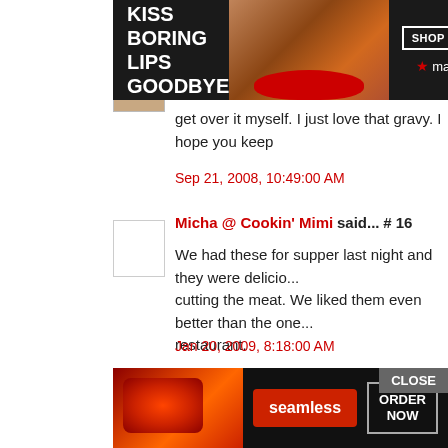[Figure (other): Macy's lipstick advertisement banner: 'KISS BORING LIPS GOODBYE' with woman's face and red lips, SHOP NOW button and macy's star logo]
Tina Butler said... # 15
get over it myself. I just love that gravy. I hope you keep
Sep 21, 2008, 10:49:00 AM
Micha @ Cookin' Mimi said... # 16
We had these for supper last night and they were delicio... cutting the meat. We liked them even better than the one... restaurant.
Jan 20, 2009, 8:18:00 AM
MrsDesmarais said... # 17
I made this and everyone loved it. I used stew meat and
Jan 23, 2009, 9:14:00 AM
[Figure (other): Seamless food delivery advertisement banner with pizza image, seamless logo button, ORDER NOW button, and 's recomm... text]